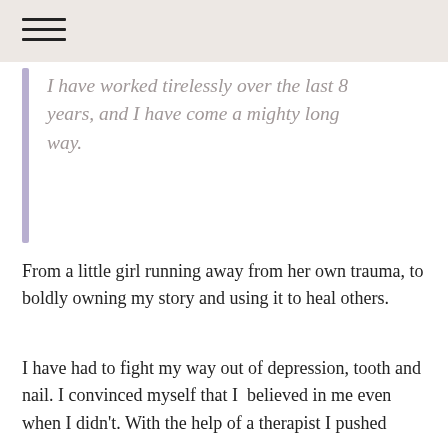I have worked tirelessly over the last 8 years, and I have come a mighty long way.
From a little girl running away from her own trauma, to boldly owning my story and using it to heal others.
I have had to fight my way out of depression, tooth and nail. I convinced myself that I  believed in me even when I didn’t. With the help of a therapist I pushed